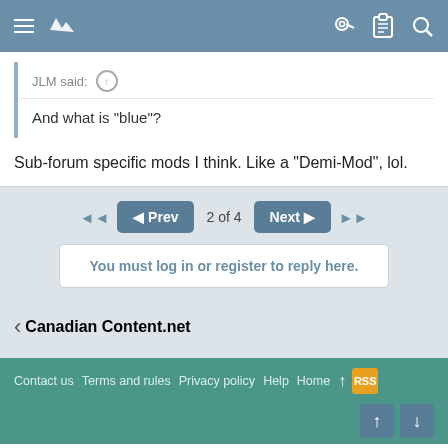Navigation bar with menu, logo, key, clipboard, and search icons
JLM said: ↑
And what is "blue"?
Sub-forum specific mods I think. Like a "Demi-Mod", lol.
◄◄  ◄ Prev   2 of 4   Next ►  ►►
You must log in or register to reply here.
‹ Canadian Content.net
Contact us  Terms and rules  Privacy policy  Help  Home  ↑  RSS
Forum software by XenForo® © 2010-2020 XenForo Ltd. | Style and